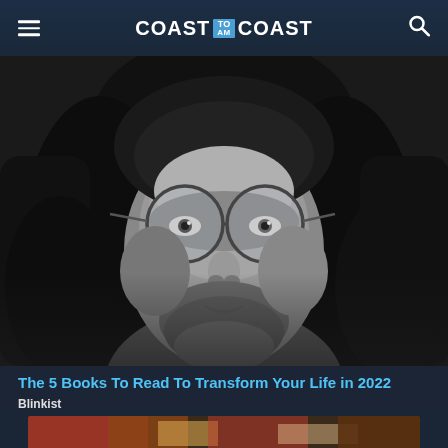COAST TO COAST AM
[Figure (photo): Black and white close-up portrait of a young man with round glasses, long wavy hair, and a beard]
The 5 Books To Read To Transform Your Life in 2022
Blinkist
[Figure (photo): Partial view of a second article image, appears to show colorful fabric or clothing]